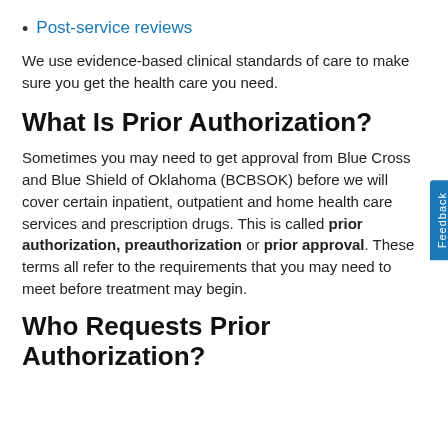Post-service reviews
We use evidence-based clinical standards of care to make sure you get the health care you need.
What Is Prior Authorization?
Sometimes you may need to get approval from Blue Cross and Blue Shield of Oklahoma (BCBSOK) before we will cover certain inpatient, outpatient and home health care services and prescription drugs. This is called prior authorization, preauthorization or prior approval. These terms all refer to the requirements that you may need to meet before treatment may begin.
Who Requests Prior Authorization?